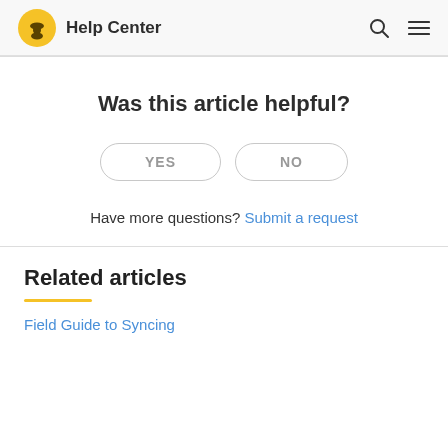Help Center
Was this article helpful?
YES   NO
Have more questions? Submit a request
Related articles
Field Guide to Syncing